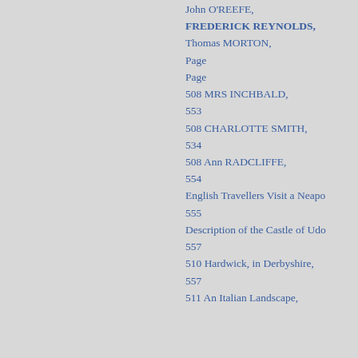John O'REEFE,
FREDERICK REYNOLDS,
Thomas MORTON,
Page
Page
508 MRS INCHBALD,
553
508 CHARLOTTE SMITH,
534
508 Ann RADCLIFFE,
554
English Travellers Visit a Neapo
555
Description of the Castle of Udo
557
510 Hardwick, in Derbyshire,
557
511 An Italian Landscape,